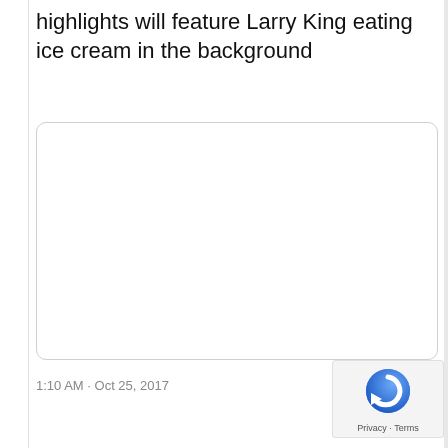highlights will feature Larry King eating ice cream in the background
[Figure (other): Empty white rounded rectangle placeholder image box]
1:10 AM · Oct 25, 2017
[Figure (logo): reCAPTCHA logo with Privacy · Terms footer]